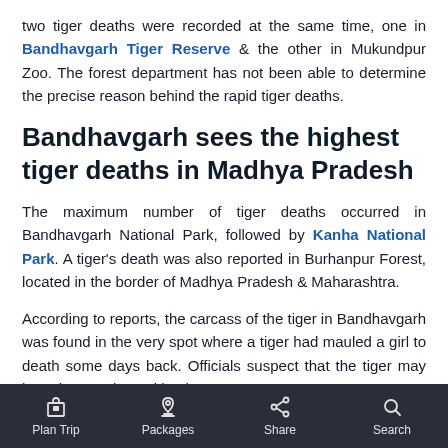two tiger deaths were recorded at the same time, one in Bandhavgarh Tiger Reserve & the other in Mukundpur Zoo. The forest department has not been able to determine the precise reason behind the rapid tiger deaths.
Bandhavgarh sees the highest tiger deaths in Madhya Pradesh
The maximum number of tiger deaths occurred in Bandhavgarh National Park, followed by Kanha National Park. A tiger's death was also reported in Burhanpur Forest, located in the border of Madhya Pradesh & Maharashtra.
According to reports, the carcass of the tiger in Bandhavgarh was found in the very spot where a tiger had mauled a girl to death some days back. Officials suspect that the tiger may have been poisoned by the
Plan Trip   Packages   Share   Search